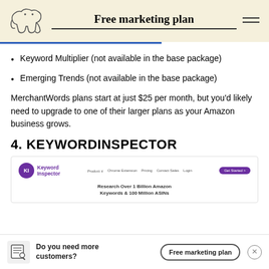Free marketing plan
Keyword Multiplier (not available in the base package)
Emerging Trends (not available in the base package)
MerchantWords plans start at just $25 per month, but you'd likely need to upgrade to one of their larger plans as your Amazon business grows.
4. KEYWORDINSPECTOR
[Figure (screenshot): Keyword Inspector website screenshot showing logo, navigation (Product, Chrome Extension, Pricing, Contact Sales, Login, Get Started button), and tagline 'Research Over 1 Billion Amazon Keywords & 100 Million ASINs']
Do you need more customers? | Free marketing plan